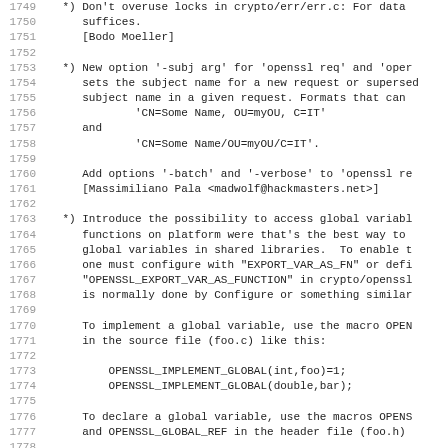Code listing lines 1749-1781 showing OpenSSL changelog entries about locks, -subj arg option, and OPENSSL_IMPLEMENT_GLOBAL/OPENSSL_DECLARE_GLOBAL macros.